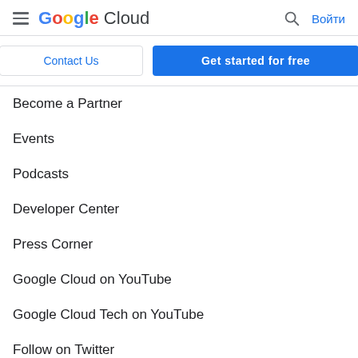Google Cloud – Войти
Contact Us | Get started for free
Become a Partner
Events
Podcasts
Developer Center
Press Corner
Google Cloud on YouTube
Google Cloud Tech on YouTube
Follow on Twitter
Join User Research
We're hiring. Join Google Cloud!
Google Cloud Community